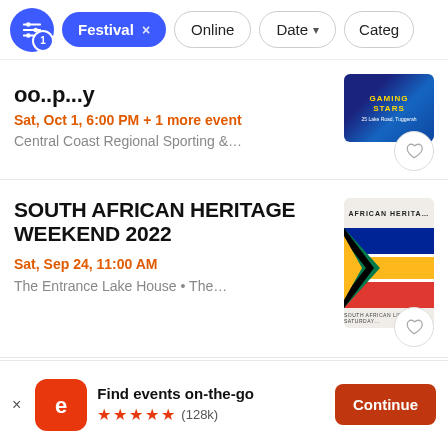Festival × | Online | Date ▾ | Categ
Sat, Oct 1, 6:00 PM + 1 more event
Central Coast Regional Sporting &...
SOUTH AFRICAN HERITAGE WEEKEND 2022
Sat, Sep 24, 11:00 AM
The Entrance Lake House • The...
Find events on-the-go ★★★★★ (128k)